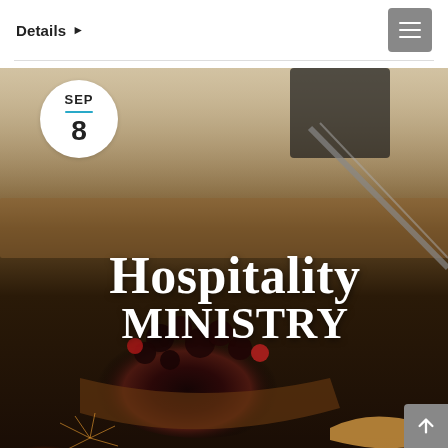Details ▶
[Figure (photo): A food photography background showing a wooden cutting board, blackberries in a bowl, sliced citrus (blood orange/grapefruit), and a croissant at the bottom right, with blurred kitchen items in the upper portion. Overlaid with 'HOSPITALITY MINISTRY' text and a circular date badge showing SEP 8.]